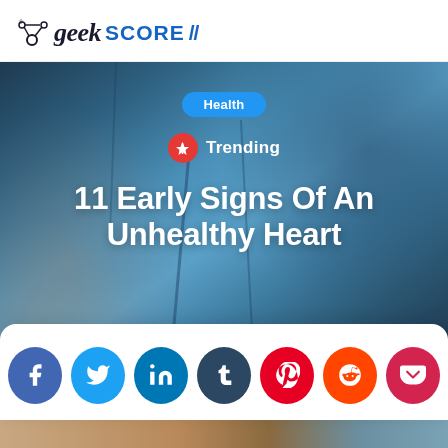[Figure (logo): GeekScore logo with circuit/network dot icon on left, 'geek' in dark italic serif font, 'SCORE' in bold blue sans-serif uppercase, followed by double blue slash marks]
[Figure (photo): Hero image showing a person in a blue denim shirt touching their chest area, with overlaid Health badge, Trending indicator, and article title text]
11 Early Signs Of An Unhealthy Heart
[Figure (infographic): Social sharing buttons row: Facebook (blue), Twitter (light blue), LinkedIn (dark blue), Tumblr (dark navy), Pinterest (red), Reddit (orange-red), Pocket (pink-red) - all circular icons]